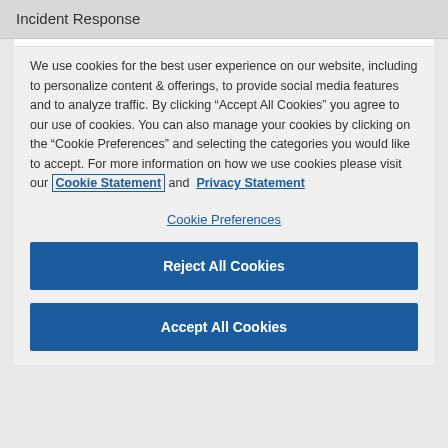Incident Response
We use cookies for the best user experience on our website, including to personalize content & offerings, to provide social media features and to analyze traffic. By clicking “Accept All Cookies” you agree to our use of cookies. You can also manage your cookies by clicking on the “Cookie Preferences” and selecting the categories you would like to accept. For more information on how we use cookies please visit our Cookie Statement and Privacy Statement
Cookie Preferences
Reject All Cookies
Accept All Cookies